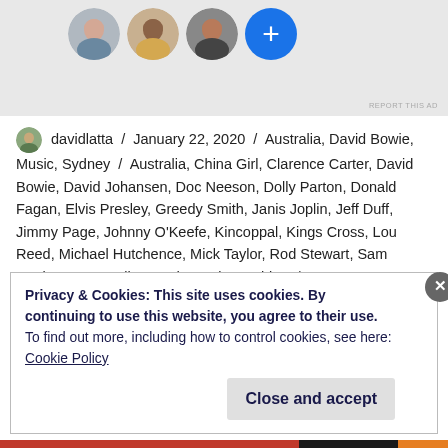[Figure (photo): Three circular profile photos of people and a blue '+' button circle, on a grey background]
davidlatta / January 22, 2020 / Australia, David Bowie, Music, Sydney / Australia, China Girl, Clarence Carter, David Bowie, David Johansen, Doc Neeson, Dolly Parton, Donald Fagan, Elvis Presley, Greedy Smith, Janis Joplin, Jeff Duff, Jimmy Page, Johnny O'Keefe, Kincoppal, Kings Cross, Lou Reed, Michael Hutchence, Mick Taylor, Rod Stewart, Sam Cooke, Scott Walker, Sydney, Tin Machine / Leave a comment
Privacy & Cookies: This site uses cookies. By continuing to use this website, you agree to their use.
To find out more, including how to control cookies, see here:
Cookie Policy
Close and accept